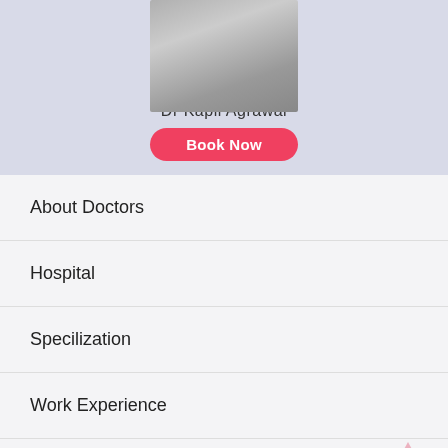[Figure (photo): Portrait photo of Dr Kapil Agrawal wearing a dark suit and red tie, upper body visible against a light blue background]
Dr Kapil Agrawal
About Doctors
Hospital
Specilization
Work Experience
Education
Awards & Accomplishment